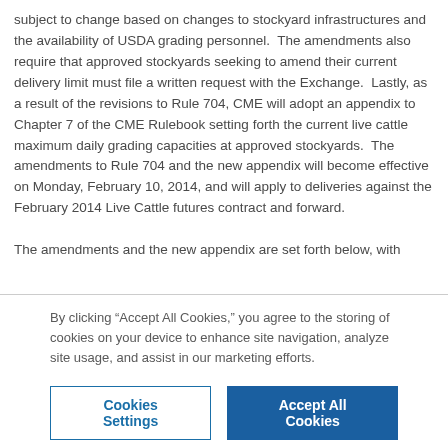subject to change based on changes to stockyard infrastructures and the availability of USDA grading personnel. The amendments also require that approved stockyards seeking to amend their current delivery limit must file a written request with the Exchange. Lastly, as a result of the revisions to Rule 704, CME will adopt an appendix to Chapter 7 of the CME Rulebook setting forth the current live cattle maximum daily grading capacities at approved stockyards. The amendments to Rule 704 and the new appendix will become effective on Monday, February 10, 2014, and will apply to deliveries against the February 2014 Live Cattle futures contract and forward.

The amendments and the new appendix are set forth below, with
By clicking “Accept All Cookies,” you agree to the storing of cookies on your device to enhance site navigation, analyze site usage, and assist in our marketing efforts.
Cookies Settings | Accept All Cookies